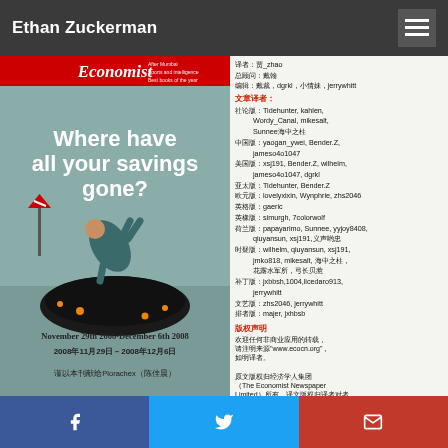Ethan Zuckerman
[Figure (photo): Cover of The Economist magazine, November 29th 2008-December 6th 2008. Shows an illustration of a person in blue clothes bent over looking into a large dark hole in the ground, with the headline 'Where have all your savings gone?' in white text. Red Economist masthead at top. Date in English and Chinese. Dedication text in Chinese at bottom.]
译者：贾_zhao
总顾问：戴翰
编辑：戴裁, dgrkl, 小情妹, jerrywhitt

文章译者：
社论版: Tidehunter, kahlen, Wordy_Canal, mikesalt, Sunnee海中之柱
中国版: yaogan_ywei, Bender.Z, jameso4o1047
美国版: xsj191, Bender.Z, wilhelm, jameso4o1047, dgrkl
亚太版: Tidehunter, Bender.Z
欧元版: lovelyxixin, Wynphrie, zhs2046
英格版: gaeric
英橡版: simurgh, 7colorwolf
荷兰版: papayarimo, Sunnee, yyjoy8408, qiuyansun, xsj191,义声哟忠
时疑版: wilhelm, qiuyansun, xsj191, jmko818, mikesalt, 海中之柱, 花露水军所，弓长贝惹
补丁版: jxbbsh,1004,licedaro913, jerrywhitt
文艺版: zhs2046, jerrywhitt
排者版: majer, jxhbsb

版权声明
欢迎任何非商业应用的转载。请注明来源"www.ecocn.org"，如明译者。

原文版权归经济学人集团（The Economist Newspaper Limited）所有，译文版权归译者对者。